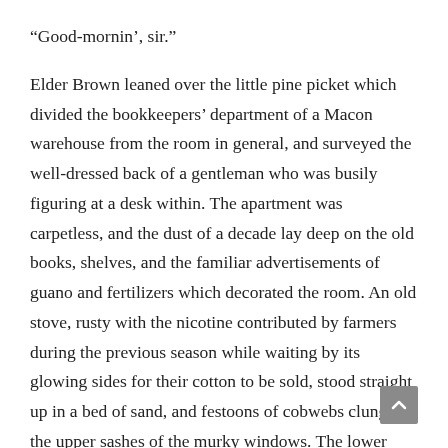“Good-mornin’, sir.”
Elder Brown leaned over the little pine picket which divided the bookkeepers’ department of a Macon warehouse from the room in general, and surveyed the well-dressed back of a gentleman who was busily figuring at a desk within. The apartment was carpetless, and the dust of a decade lay deep on the old books, shelves, and the familiar advertisements of guano and fertilizers which decorated the room. An old stove, rusty with the nicotine contributed by farmers during the previous season while waiting by its glowing sides for their cotton to be sold, stood straight up in a bed of sand, and festoons of cobwebs clung to the upper sashes of the murky windows. The lower sash of one window had been raised, and in the yard without, nearly an acre in extent, lay a few bales of cotton, with jagged holes in their ends, just as the sampler had left them. Elder Brown had time to notice all these familiar points, for the figure at the desk kept